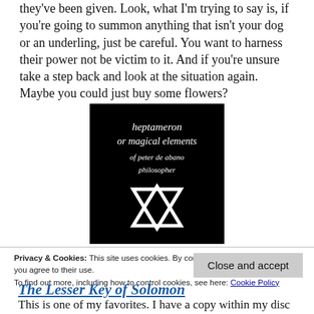they've been given. Look, what I'm trying to say is, if you're going to summon anything that isn't your dog or an underling, just be careful. You want to harness their power not be victim to it. And if you're unsure take a step back and look at the situation again. Maybe you could just buy some flowers?
[Figure (illustration): Book cover with black background. Text reads 'heptameron or magical elements of peter de abano philosopher' in white old-style font. Below the text is a white Star of David (hexagram) symbol.]
Privacy & Cookies: This site uses cookies. By continuing to use this website, you agree to their use. To find out more, including how to control cookies, see here: Cookie Policy
Close and accept
The Lesser Key of Solomon
This is one of my favorites. I have a copy within my disc